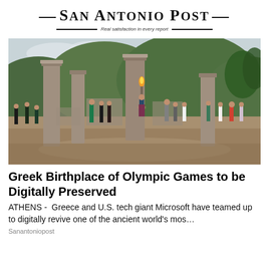—San Antonio Post— Real satisfaction in every report
[Figure (photo): People standing in ancient Greek ruins at Olympia during an Olympic torch lighting ceremony. Columns and stone ruins visible, with green wooded hills in the background. A woman holds the Olympic torch in the center.]
Greek Birthplace of Olympic Games to be Digitally Preserved
ATHENS -  Greece and U.S. tech giant Microsoft have teamed up to digitally revive one of the ancient world's mos…
Sanantoniopost